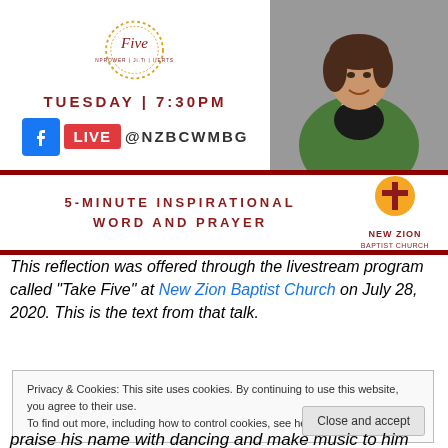[Figure (illustration): Top banner with Take Five logo circle on left and decorative gold dotted ring, showing 'TUESDAY | 7:30PM' text and Facebook Live @NZBCWMBG, with photo of a woman in green jacket on right]
TUESDAY | 7:30PM
LIVE @NZBCWMBG
5-MINUTE INSPIRATIONAL WORD AND PRAYER
[Figure (logo): New Zion Baptist Church logo with sun/cross icon]
This reflection was offered through the livestream program called "Take Five" at New Zion Baptist Church on July 28, 2020. This is the text from that talk.
Privacy & Cookies: This site uses cookies. By continuing to use this website, you agree to their use. To find out more, including how to control cookies, see here: Cookie Policy
praise his name with dancing and make music to him with